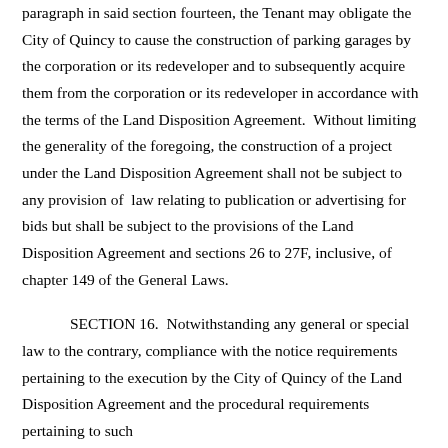paragraph in said section fourteen, the Tenant may obligate the City of Quincy to cause the construction of parking garages by the corporation or its redeveloper and to subsequently acquire them from the corporation or its redeveloper in accordance with the terms of the Land Disposition Agreement.  Without limiting the generality of the foregoing, the construction of a project under the Land Disposition Agreement shall not be subject to any provision of  law relating to publication or advertising for bids but shall be subject to the provisions of the Land Disposition Agreement and sections 26 to 27F, inclusive, of chapter 149 of the General Laws.
SECTION 16.  Notwithstanding any general or special law to the contrary, compliance with the notice requirements pertaining to the execution by the City of Quincy of the Land Disposition Agreement and the procedural requirements pertaining to such